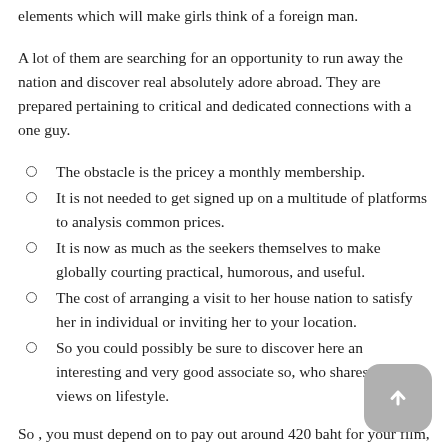elements which will make girls think of a foreign man.
A lot of them are searching for an opportunity to run away the nation and discover real absolutely adore abroad. They are prepared pertaining to critical and dedicated connections with a one guy.
The obstacle is the pricey a monthly membership.
It is not needed to get signed up on a multitude of platforms to analysis common prices.
It is now as much as the seekers themselves to make globally courting practical, humorous, and useful.
The cost of arranging a visit to her house nation to satisfy her in individual or inviting her to your location.
So you could possibly be sure to discover here an interesting and very good associate so, who shares the views on lifestyle.
So , you must depend on to pay out around 420 baht for your film, popcorn, and beverages. If you would like watch an action